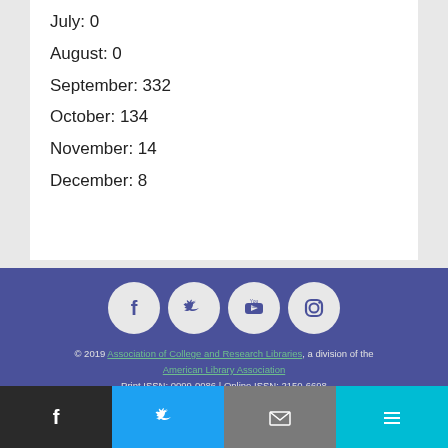July: 0
August: 0
September: 332
October: 134
November: 14
December: 8
[Figure (other): Social media icons: Facebook, Twitter, YouTube, Instagram in circular buttons on blue footer]
© 2019 Association of College and Research Libraries, a division of the American Library Association Print ISSN: 0099-0086 | Online ISSN: 2150-6698 ALA Privacy Policy
Bottom navigation bar with Facebook, Twitter, email, and menu icons